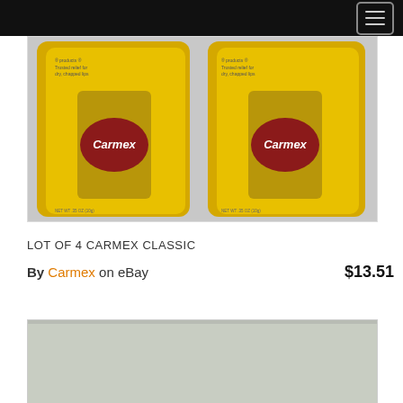navigation header with hamburger menu
[Figure (photo): Two Carmex Classic lip balm tubes in yellow blister packaging on a white/grey background]
LOT OF 4 CARMEX CLASSIC
By Carmex on eBay   $13.51
[Figure (photo): Partial view of another product image, light grey/green background, bottom of page]